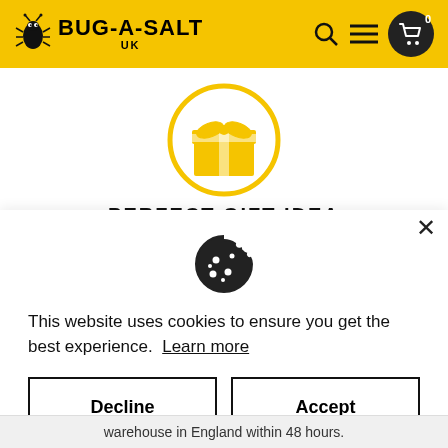[Figure (logo): Bug-A-Salt UK logo on yellow header background with bug mascot icon, search icon, hamburger menu, and cart icon with 0 badge]
[Figure (illustration): Yellow gift box icon inside a yellow circle outline]
PERFECT GIFT IDEA
[Figure (illustration): Cookie icon (cookie with bite taken out and dots)]
This website uses cookies to ensure you get the best experience.  Learn more
Decline
Accept
warehouse in England within 48 hours.